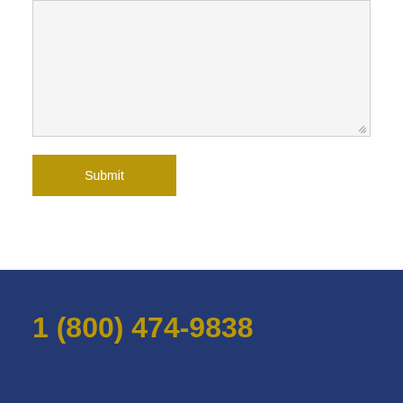[Figure (screenshot): A large light gray textarea input box with a resize handle at the bottom-right corner]
Submit
1 (800) 474-9838